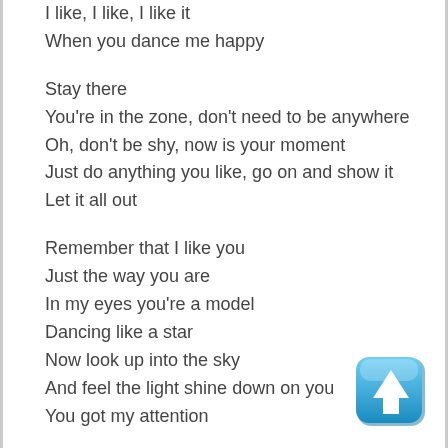I like, I like, I like it
When you dance me happy

Stay there
You're in the zone, don't need to be anywhere
Oh, don't be shy, now is your moment
Just do anything you like, go on and show it
Let it all out

Remember that I like you
Just the way you are
In my eyes you're a model
Dancing like a star
Now look up into the sky
And feel the light shine down on you
You got my attention
[Figure (illustration): Blue rounded square button with a white upward-pointing arrow icon]